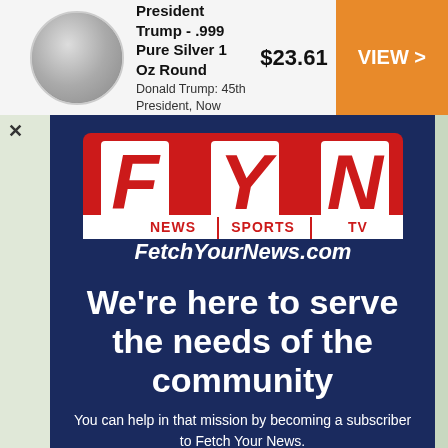[Figure (infographic): Advertisement banner showing a Trump silver coin, product title 'President Trump - .999 Pure Silver 1 Oz Round', price $23.61, and an orange VIEW button]
[Figure (logo): FYN (Fetch Your News) logo with red and white design, NEWS SPORTS TV tagline, and FetchYourNews.com website text]
We're here to serve the needs of the community
You can help in that mission by becoming a subscriber to Fetch Your News. Our supporters get access for life and help fund a source of independent, dependable journalism in their communities.